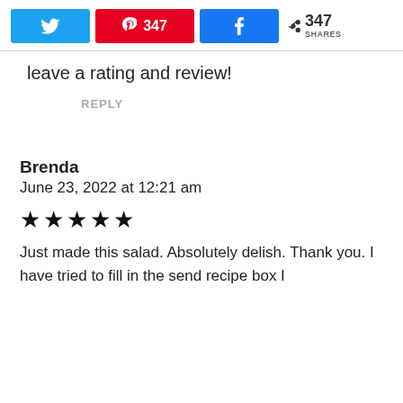[Figure (infographic): Social share bar with Twitter button, Pinterest button showing 347, Facebook button, and share count of 347 shares]
leave a rating and review!
REPLY
Brenda
June 23, 2022 at 12:21 am
[Figure (other): 5 black star rating]
Just made this salad. Absolutely delish. Thank you. I have tried to fill in the send recipe box I